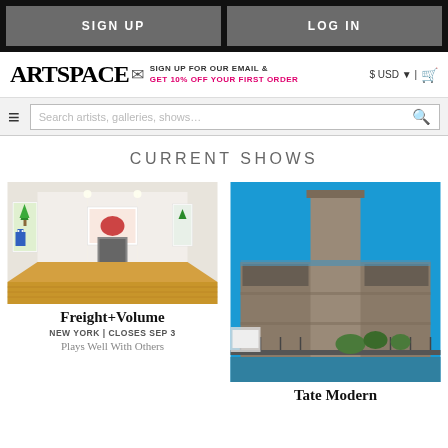SIGN UP | LOG IN
[Figure (screenshot): Artspace website header with logo, email signup promo, USD currency selector, cart icon, hamburger menu, and search bar]
CURRENT SHOWS
[Figure (photo): Interior of Freight+Volume gallery in New York showing colorful artwork on white walls and wooden floors]
Freight+Volume
NEW YORK | CLOSES SEP 3
Plays Well With Others
[Figure (photo): Exterior photo of Tate Modern building in London with tall chimney tower against blue sky]
Tate Modern